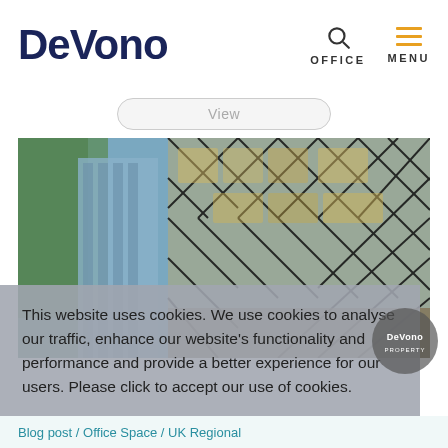[Figure (logo): DeVono logo in dark navy blue bold text]
OFFICE
MENU
View
[Figure (photo): Modern glass building exterior with geometric diamond pattern facade, urban London architecture, green trees visible on left]
This website uses cookies. We use cookies to analyse our traffic, enhance our website's functionality and performance and provide a better experience for our users. Please click to accept our use of cookies.
Accept
Blog post / Office Space / UK Regional